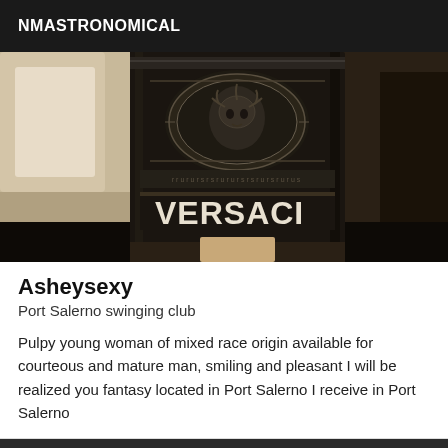NMASTRONOMICAL
[Figure (photo): Dark photo showing a Versace branded item (appears to be a cylindrical container/bag) with the Versace Medusa head logo and brand name visible, placed near a light-colored couch or cushion in a dimly lit room.]
Asheysexy
Port Salerno swinging club
Pulpy young woman of mixed race origin available for courteous and mature man, smiling and pleasant I will be realized you fantasy located in Port Salerno I receive in Port Salerno